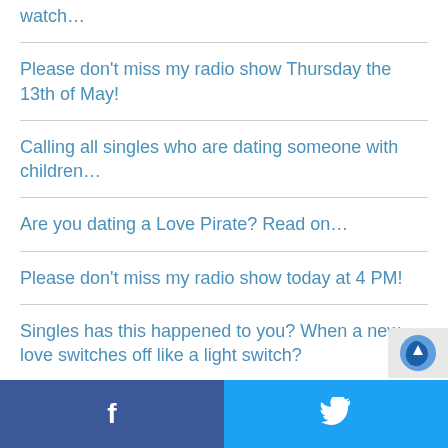watch…
Please don't miss my radio show Thursday the 13th of May!
Calling all singles who are dating someone with children…
Are you dating a Love Pirate? Read on…
Please don't miss my radio show today at 4 PM!
Singles has this happened to you? When a new love switches off like a light switch?
Please join me on my radio show this wee…
f  🐦